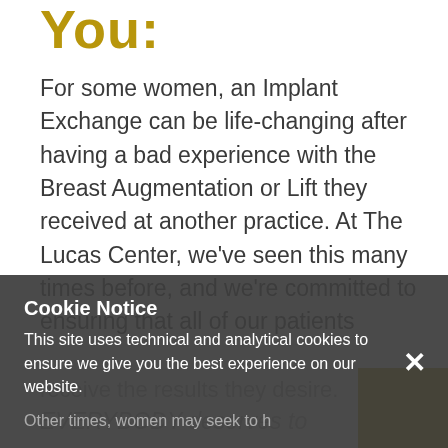You:
For some women, an Implant Exchange can be life-changing after having a bad experience with the Breast Augmentation or Lift they received at another practice. At The Lucas Center, we've seen this many times before, and we're committed to ensuring that all of our patients receive the results they desire.
EVERYBODY deserves to
Cookie Notice
This site uses technical and analytical cookies to ensure we give you the best experience on our website.
Other times, women may seek to h